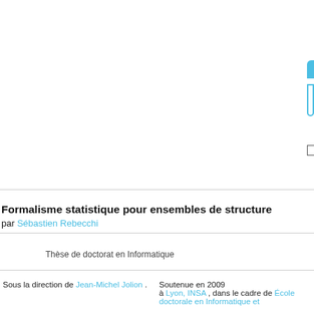[Figure (screenshot): UI navigation tabs showing 'Toutes les thèses' (active, blue) and 'Thèses en pr...' (inactive, grey), with a search input box below outlined in blue, and a checkbox row reading 'Uniquement les thèses soutenues' with a checkbox on each side.]
Formalisme statistique pour ensembles de structure...
par Sébastien Rebecchi
Thèse de doctorat en Informatique
Sous la direction de Jean-Michel Jolion .
Soutenue en 2009 à Lyon, INSA , dans le cadre de École doctorale en Informatique et